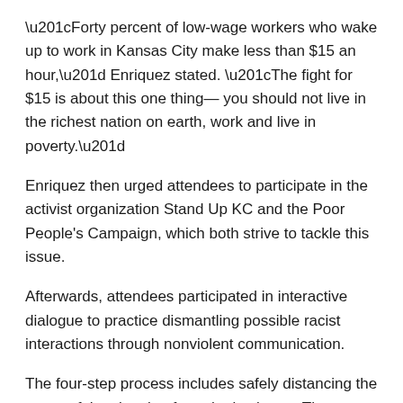“Forty percent of low-wage workers who wake up to work in Kansas City make less than $15 an hour,” Enriquez stated. “The fight for $15 is about this one thing— you should not live in the richest nation on earth, work and live in poverty.”
Enriquez then urged attendees to participate in the activist organization Stand Up KC and the Poor People's Campaign, which both strive to tackle this issue.
Afterwards, attendees participated in interactive dialogue to practice dismantling possible racist interactions through nonviolent communication.
The four-step process includes safely distancing the target of the situation from the instigator. The training also covered how to communicate with friends, family and colleagues to appropriately address racist and other discriminatory comments.